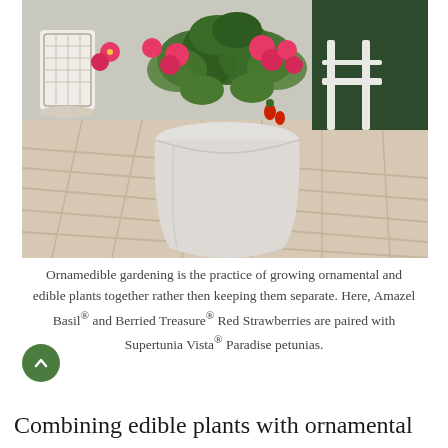[Figure (photo): A white ceramic pot containing leafy green plants and pink/red petunias with small red strawberries, sitting on a light wood deck. In the background is a white lattice lantern, a white bench, and dark greenery.]
Ornamedible gardening is the practice of growing ornamental and edible plants together rather then keeping them separate. Here, Amazel Basil® and Berried Treasure® Red Strawberries are paired with Supertunia Vista® Paradise petunias.
Combining edible plants with ornamental ones